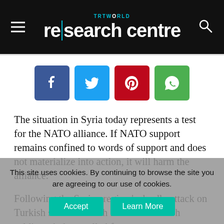TRT WORLD research centre
[Figure (infographic): Social media share buttons: Facebook (blue), Twitter (cyan), Pinterest (red), WhatsApp (green)]
The situation in Syria today represents a test for the NATO alliance. If NATO support remains confined to words of support and does not materialize into action, it will harm the alliance.
Following the Syrian regime’s deadly attack on Turkish soldiers which killed 36 Turkish soldiers, Ankara called for an emergency NATO meeting to be held between the... NATO's Article 4 of the North Atlantic Treaty...
This site uses cookies. By continuing to browse the site you are agreeing to our use of cookies.